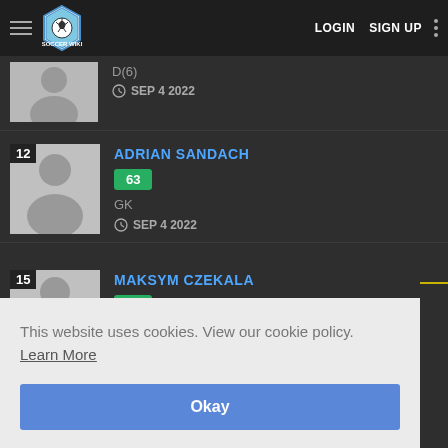Soccer Wiki — LOGIN  SIGN UP
SEP 4 2022 (partial row, player name cut off)
ADRIAN SANDACH — Rating: 63 — GK — SEP 4 2022 — #12
MAKSYM CZEKALA — Rating: 65 — #15
This website uses cookies. View our cookie policy.  Learn More
Okay